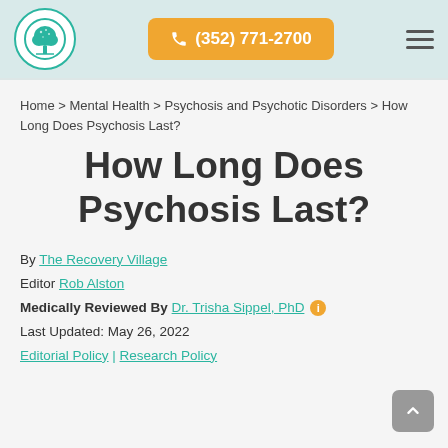(352) 771-2700
Home > Mental Health > Psychosis and Psychotic Disorders > How Long Does Psychosis Last?
How Long Does Psychosis Last?
By The Recovery Village
Editor Rob Alston
Medically Reviewed By Dr. Trisha Sippel, PhD
Last Updated: May 26, 2022
Editorial Policy | Research Policy